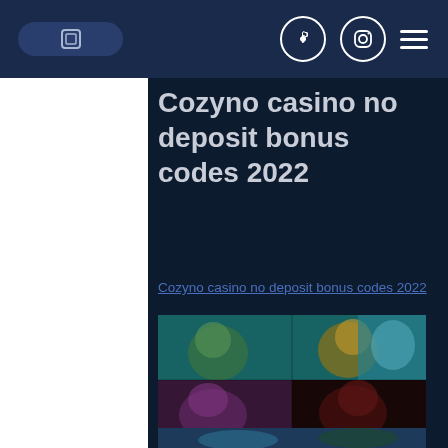Navigation bar with pill button, Facebook icon, Instagram icon, and hamburger menu
Cozyno casino no deposit bonus codes 2022
Cozyno casino no deposit bonus codes 2022
[Figure (screenshot): Blurred screenshot of Cozyno casino website showing game thumbnails with animated characters on teal/dark backgrounds]